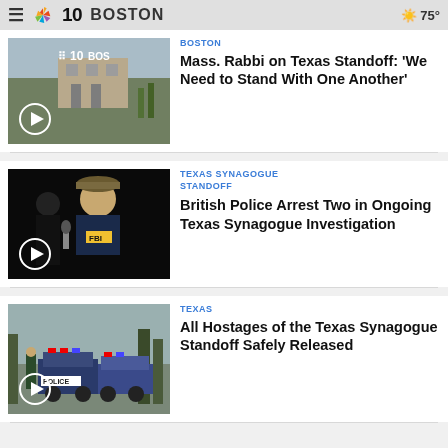NBC10 Boston  75°
[Figure (screenshot): Aerial view of building/campus for Texas synagogue standoff story with play button overlay]
BOSTON
Mass. Rabbi on Texas Standoff: 'We Need to Stand With One Another'
[Figure (screenshot): FBI agent at podium for British Police arrest story with play button overlay]
TEXAS SYNAGOGUE STANDOFF
British Police Arrest Two in Ongoing Texas Synagogue Investigation
[Figure (screenshot): Police vehicles at Texas synagogue standoff scene with play button overlay]
TEXAS
All Hostages of the Texas Synagogue Standoff Safely Released